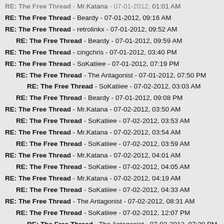RE: The Free Thread - Beardy - 07-01-2012, 09:16 AM
RE: The Free Thread - retrolinkx - 07-01-2012, 09:52 AM
RE: The Free Thread - Beardy - 07-01-2012, 09:59 AM
RE: The Free Thread - cingchris - 07-01-2012, 03:40 PM
RE: The Free Thread - SoKatiiee - 07-01-2012, 07:19 PM
RE: The Free Thread - The Antagonist - 07-01-2012, 07:50 PM
RE: The Free Thread - SoKatiiee - 07-02-2012, 03:03 AM
RE: The Free Thread - Beardy - 07-01-2012, 09:08 PM
RE: The Free Thread - Mr.Katana - 07-02-2012, 03:50 AM
RE: The Free Thread - SoKatiiee - 07-02-2012, 03:53 AM
RE: The Free Thread - Mr.Katana - 07-02-2012, 03:54 AM
RE: The Free Thread - SoKatiiee - 07-02-2012, 03:59 AM
RE: The Free Thread - Mr.Katana - 07-02-2012, 04:01 AM
RE: The Free Thread - SoKatiiee - 07-02-2012, 04:05 AM
RE: The Free Thread - Mr.Katana - 07-02-2012, 04:19 AM
RE: The Free Thread - SoKatiiee - 07-02-2012, 04:33 AM
RE: The Free Thread - The Antagonist - 07-02-2012, 08:31 AM
RE: The Free Thread - SoKatiiee - 07-02-2012, 12:07 PM
RE: The Free Thread - The Antagonist - 07-02-2012, 07:30 PM
RE: The Free Thread - Seydou - 07-03-2012, 04:02 AM
RE: The Free Thread - megav365 - 07-02-2012, 11:12 AM
RE: The Free Thread - Nyu - 07-02-2012, 01:05 PM
RE: The Free Thread - Nuudoru - 07-02-2012, 05:01 PM
RE: The Free Thread - A Zombie Riot - 07-02-2012, 05:08 PM
RE: The Free Thread - ...